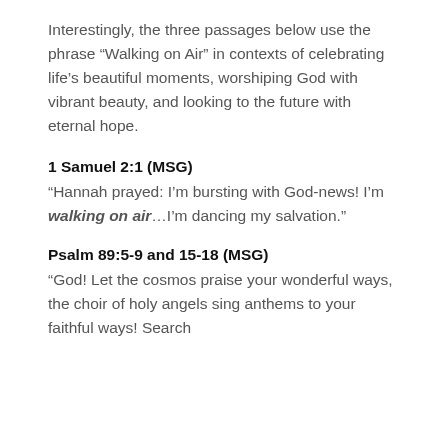Interestingly, the three passages below use the phrase “Walking on Air” in contexts of celebrating life’s beautiful moments, worshiping God with vibrant beauty, and looking to the future with eternal hope.
1 Samuel 2:1 (MSG)
“Hannah prayed: I’m bursting with God-news! I’m walking on air…I’m dancing my salvation.”
Psalm 89:5-9 and 15-18 (MSG)
“God! Let the cosmos praise your wonderful ways, the choir of holy angels sing anthems to your faithful ways! Search high and low, among gods and goddesses…”